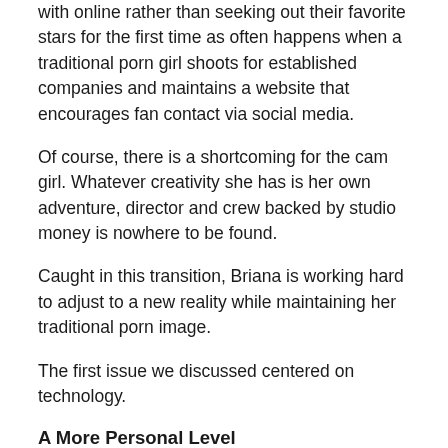with online rather than seeking out their favorite stars for the first time as often happens when a traditional porn girl shoots for established companies and maintains a website that encourages fan contact via social media.
Of course, there is a shortcoming for the cam girl. Whatever creativity she has is her own adventure, director and crew backed by studio money is nowhere to be found.
Caught in this transition, Briana is working hard to adjust to a new reality while maintaining her traditional porn image.
The first issue we discussed centered on technology.
A More Personal Level
Briana took a five-year hiatus and returning to porn has become a confrontation with change, especially with new